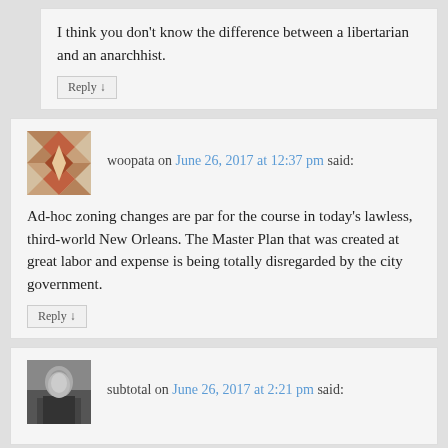I think you don't know the difference between a libertarian and an anarchhist.
Reply
woopata on June 26, 2017 at 12:37 pm said:
Ad-hoc zoning changes are par for the course in today's lawless, third-world New Orleans. The Master Plan that was created at great labor and expense is being totally disregarded by the city government.
Reply
subtotal on June 26, 2017 at 2:21 pm said: